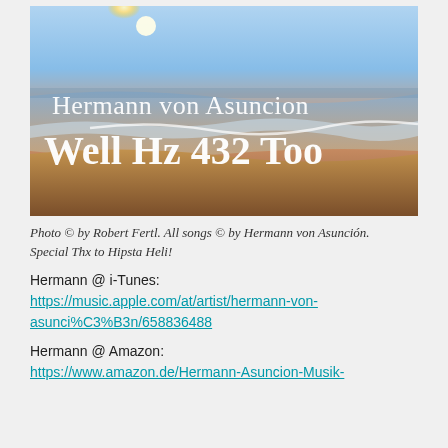[Figure (photo): Album cover image showing a beach scene at sunrise/sunset with waves, sand, and sky. Text overlay reads 'Hermann von Asuncion' and 'Well Hz 432 Too' in white serif font.]
Photo © by Robert Fertl.  All songs © by Hermann von Asunción. Special Thx to Hipsta Heli!
Hermann @ i-Tunes:
https://music.apple.com/at/artist/hermann-von-asunci%C3%B3n/658836488
Hermann @ Amazon:
https://www.amazon.de/Hermann-Asuncion-Musik-